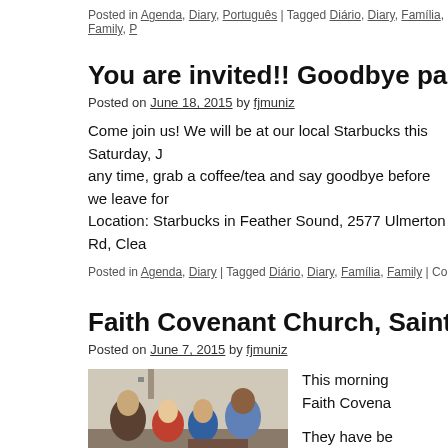Posted in Agenda, Diary, Português | Tagged Diário, Diary, Família, Family, P
You are invited!! Goodbye party at Starbu
Posted on June 18, 2015 by fjmuniz
Come join us! We will be at our local Starbucks this Saturday, J any time, grab a coffee/tea and say goodbye before we leave for Location: Starbucks in Feather Sound, 2577 Ulmerton Rd, Clea
Posted in Agenda, Diary | Tagged Diário, Diary, Família, Family | Comments 0
Faith Covenant Church, Saint Petersburg
Posted on June 7, 2015 by fjmuniz
[Figure (photo): Group of people gathered together, appears to be a church or community setting with people praying or in discussion]
This morning Faith Covena They have be